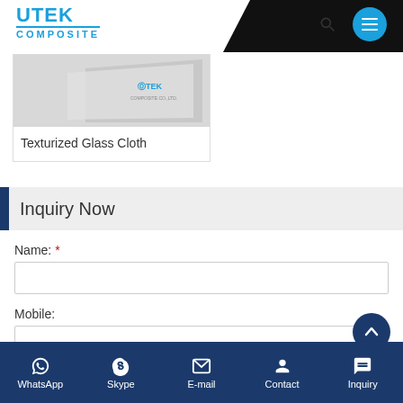UTEK COMPOSITE
[Figure (photo): Texturized Glass Cloth product thumbnail with UTEK logo]
Texturized Glass Cloth
Inquiry Now
Name: *
Mobile:
E-mail: *
WhatsApp  Skype  E-mail  Contact  Inquiry